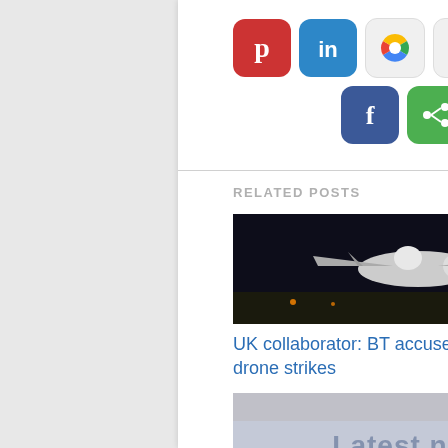[Figure (other): Row of social media sharing icons: Pinterest, LinkedIn, Google+, Shareaholic, Blogger, Twitter]
[Figure (other): Row of social media sharing icons: Facebook, Share button]
RELATED POSTS
[Figure (photo): Night photo of military drone aircraft on tarmac]
UK collaborator: BT accused of aiding US drone strikes
[Figure (photo): Latest news image with TL logo and person holding phone]
Con trick to cut aid to women and babies